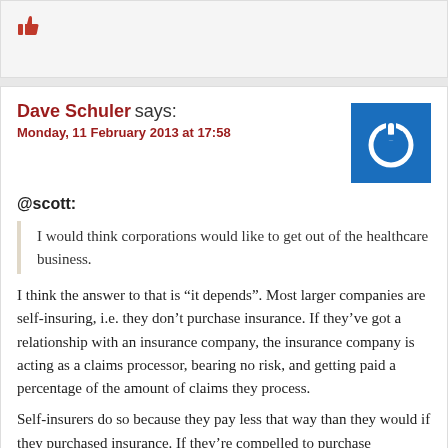[Figure (illustration): Thumbs up icon in dark red/crimson color]
Dave Schuler says:
Monday, 11 February 2013 at 17:58
@scott:
I would think corporations would like to get out of the healthcare business.
I think the answer to that is “it depends”. Most larger companies are self-insuring, i.e. they don’t purchase insurance. If they’ve got a relationship with an insurance company, the insurance company is acting as a claims processor, bearing no risk, and getting paid a percentage of the amount of claims they process.
Self-insurers do so because they pay less that way than they would if they purchased insurance. If they’re compelled to purchase insurance, regardless of whether it’s from a private